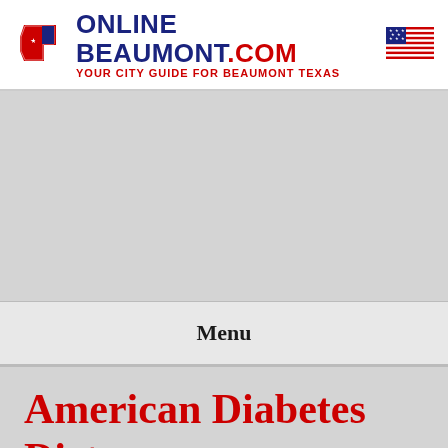[Figure (logo): OnlineBeaumont.com logo with Texas state outline icon on left, US flag on right, main text 'ONLINE BEAUMONT.COM' in dark navy, subtitle 'YOUR CITY GUIDE FOR BEAUMONT TEXAS' in red]
Menu
American Diabetes Diet